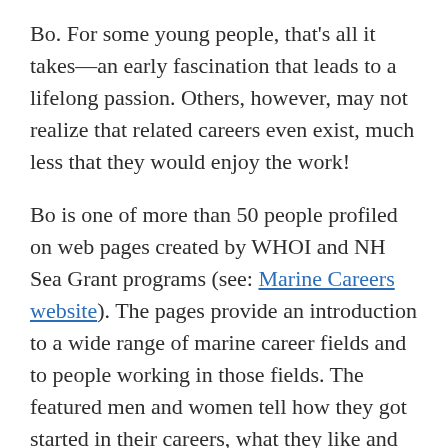Bo. For some young people, that's all it takes—an early fascination that leads to a lifelong passion. Others, however, may not realize that related careers even exist, much less that they would enjoy the work!
Bo is one of more than 50 people profiled on web pages created by WHOI and NH Sea Grant programs (see: Marine Careers website). The pages provide an introduction to a wide range of marine career fields and to people working in those fields. The featured men and women tell how they got started in their careers, what they like and dislike, and give advice for young people. Fields covered include marine biology, oceanography, ocean engineering, and related